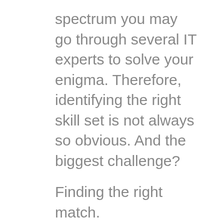spectrum you may go through several IT experts to solve your enigma. Therefore, identifying the right skill set is not always so obvious. And the biggest challenge?
Finding the right match.
It might be one of your team members, the team member from another department, a volunteer if you’re a non-profit, or an outside contractor.
Organizational Problem-Solving That Requires Technology
Innovative technology changes in a blink. Master one software package, a new one replaces it, and you’re relearning